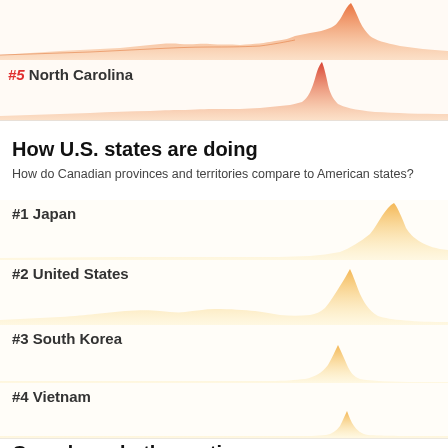[Figure (area-chart): Area chart for #4 West Virginia showing COVID case trend with a prominent spike near the right end, colored orange-red]
[Figure (area-chart): Area chart for #5 North Carolina showing COVID case trend with a sharp spike near the right end, colored orange-red]
How U.S. states are doing
How do Canadian provinces and territories compare to American states?
[Figure (area-chart): Area chart for #1 Japan showing gradual rise with large increase at right, colored yellow-orange]
[Figure (area-chart): Area chart for #2 United States showing multiple bumps with a large spike near right, colored yellow-orange]
[Figure (area-chart): Area chart for #3 South Korea showing a prominent single spike in right portion, colored yellow-orange]
[Figure (area-chart): Area chart for #4 Vietnam showing a small spike near right, colored yellow-orange]
Canada and other nations